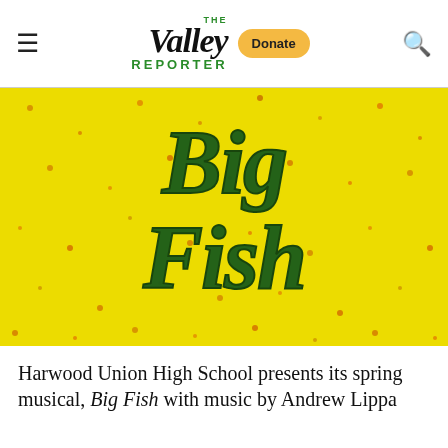The Valley Reporter
[Figure (illustration): Big Fish musical logo artwork — text 'Big Fish' rendered in dark green brushstroke letters on a bright yellow speckled/floral background]
Harwood Union High School presents its spring musical, Big Fish with music by Andrew Lippa